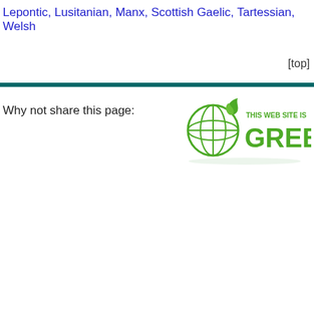Lepontic, Lusitanian, Manx, Scottish Gaelic, Tartessian, Welsh
[top]
Why not share this page:
[Figure (logo): This Web Site Is Green logo with globe and leaf icon]